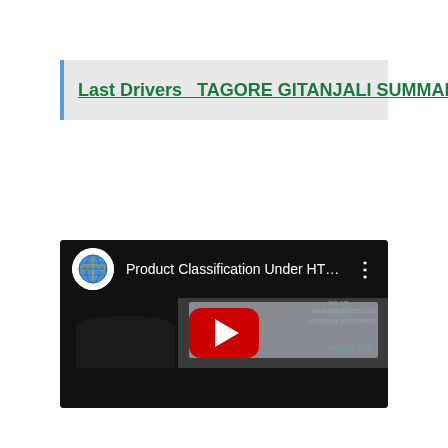Last Drivers  TAGORE GITANJALI SUMMARY PDF
[Figure (screenshot): YouTube video thumbnail showing 'Product Classification Under HTS...' with a person standing in front of a whiteboard/screen displaying content, and a red YouTube play button in the center. Channel icon shows a balance scale with a globe.]